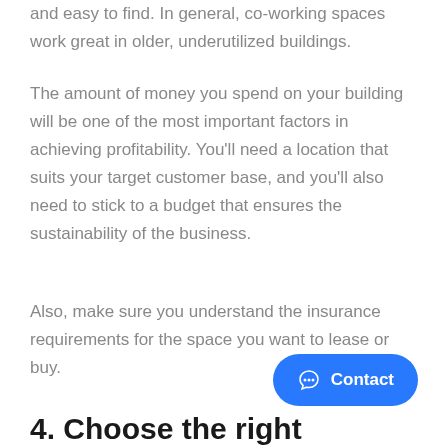and easy to find. In general, co-working spaces work great in older, underutilized buildings.
The amount of money you spend on your building will be one of the most important factors in achieving profitability. You’ll need a location that suits your target customer base, and you’ll also need to stick to a budget that ensures the sustainability of the business.
Also, make sure you understand the insurance requirements for the space you want to lease or buy.
4. Choose the right